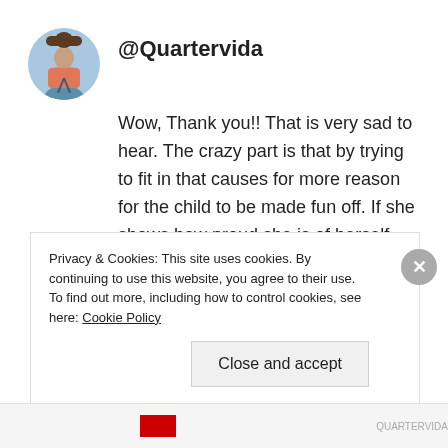[Figure (photo): Circular avatar photo of a person on a beach]
@Quartervida
Wow, Thank you!! That is very sad to hear. The crazy part is that by trying to fit in that causes for more reason for the child to be made fun off. If she shows how proud she is of herself then others will follow and if they dont then she'll at least have the confidence to rise above it.
January 7, 2015   /   Reply
Privacy & Cookies: This site uses cookies. By continuing to use this website, you agree to their use.
To find out more, including how to control cookies, see here: Cookie Policy
Close and accept